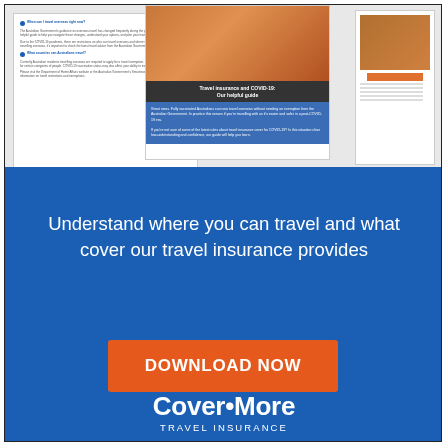[Figure (illustration): Brochure pages fanned out showing a travel insurance COVID-19 guide, with images of a traveller and document text]
Understand where you can travel and what cover our travel insurance provides
DOWNLOAD NOW
[Figure (logo): Cover-More Travel Insurance logo in white text on blue background]